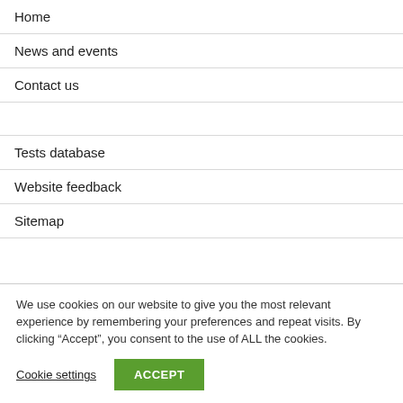Home
News and events
Contact us
Tests database
Website feedback
Sitemap
We use cookies on our website to give you the most relevant experience by remembering your preferences and repeat visits. By clicking “Accept”, you consent to the use of ALL the cookies.
Cookie settings
ACCEPT